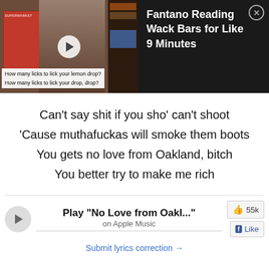[Figure (screenshot): YouTube video thumbnail: Fantano Reading Wack Bars for Like 9 Minutes. Shows a man in plaid shirt holding a red book labeled SUPERMARKET, with subtitle text 'How many licks to lick your lemon drop? / How many licks to lick your drop, drop?']
Can't say shit if you sho' can't shoot
'Cause muthafuckas will smoke them boots
You gets no love from Oakland, bitch
You better try to make me rich
Play "No Love from Oakl..." on Apple Music
Submit lyrics correction →
55k
Like
Add Comment